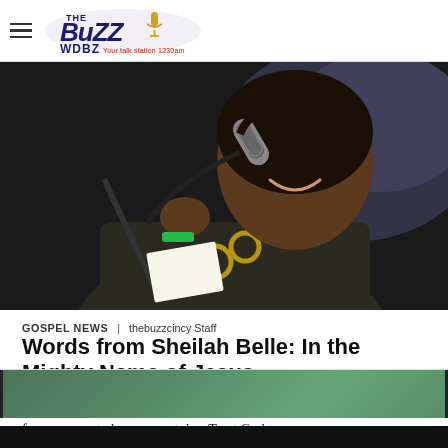THE BUZZ WDBZ Your Talk Station 1230am
[Figure (photo): A woman smiling while speaking into a microphone, wearing a dark sweater and large gold necklace, holding papers, with a green wristband visible.]
GOSPEL NEWS  |  thebuzzcincy Staff
Words from Sheilah Belle: In the Mighty Name of Jesus…
I still believe in the POWER of prayer and today I offer a special prayer for everyone to have a great day. Trust God to…